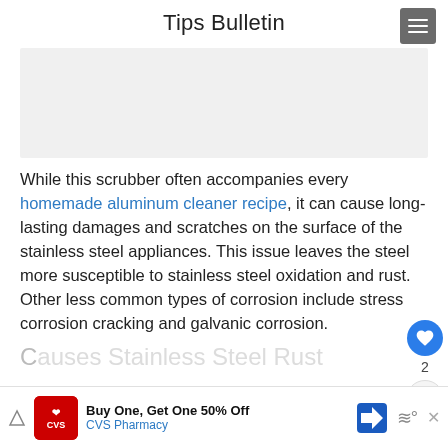Tips Bulletin
[Figure (other): Gray advertisement placeholder rectangle]
While this scrubber often accompanies every homemade aluminum cleaner recipe, it can cause long-lasting damages and scratches on the surface of the stainless steel appliances. This issue leaves the steel more susceptible to stainless steel oxidation and rust. Other less common types of corrosion include stress corrosion cracking and galvanic corrosion.
C...
[Figure (other): CVS Pharmacy advertisement banner: Buy One, Get One 50% Off]